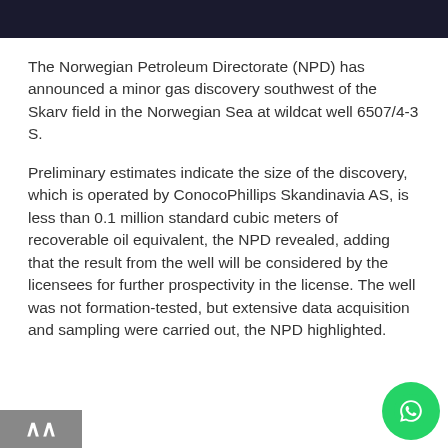[Figure (photo): Dark background image at top of page, partially visible]
The Norwegian Petroleum Directorate (NPD) has announced a minor gas discovery southwest of the Skarv field in the Norwegian Sea at wildcat well 6507/4-3 S.
Preliminary estimates indicate the size of the discovery, which is operated by ConocoPhillips Skandinavia AS, is less than 0.1 million standard cubic meters of recoverable oil equivalent, the NPD revealed, adding that the result from the well will be considered by the licensees for further prospectivity in the license. The well was not formation-tested, but extensive data acquisition and sampling were carried out, the NPD highlighted.